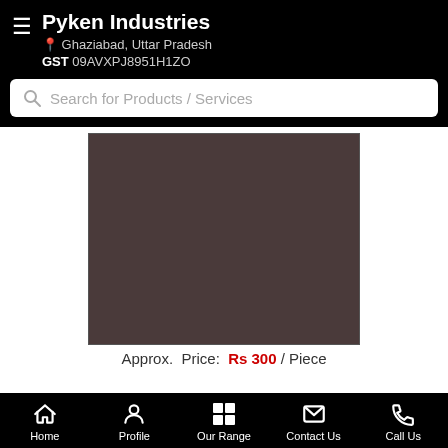Pyken Industries — Ghaziabad, Uttar Pradesh — GST 09AVXPJ8951H1ZO
Search for Products / Services
[Figure (photo): Dark brownish-grey product image placeholder]
Approx. Price: Rs 300 / Piece
Home | Profile | Our Range | Contact Us | Call Us